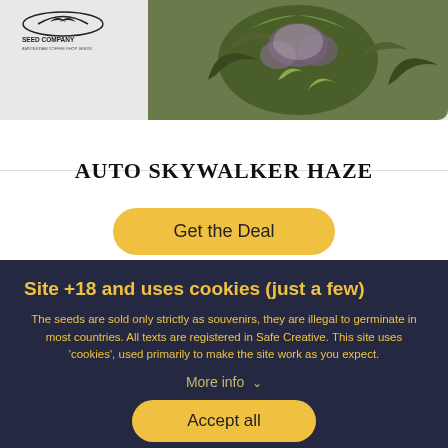[Figure (photo): Product photo of cannabis plant with green and purple buds, with a seed company logo (bird/seagull silhouette) in the top left corner over a light background]
AUTO SKYWALKER HAZE
Get the Deal
Site +18 and uses cookies (just a few)
The seeds are sold only strictly as souvenirs, they are illegal to germinate in most countries. All texts are registered in Safe Creative. This site uses 'cookies', used primarily to make the site work as you expect.
More info
Accept all